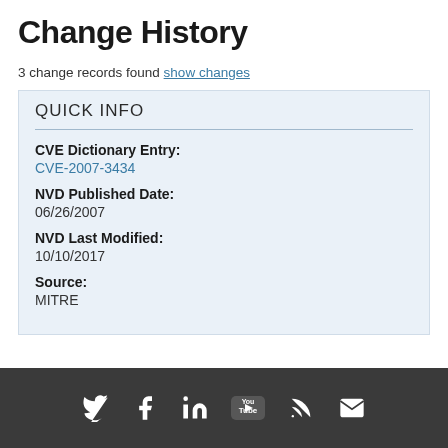Change History
3 change records found show changes
QUICK INFO
CVE Dictionary Entry:
CVE-2007-3434
NVD Published Date:
06/26/2007
NVD Last Modified:
10/10/2017
Source:
MITRE
Social media icons: Twitter, Facebook, LinkedIn, YouTube, RSS, Email